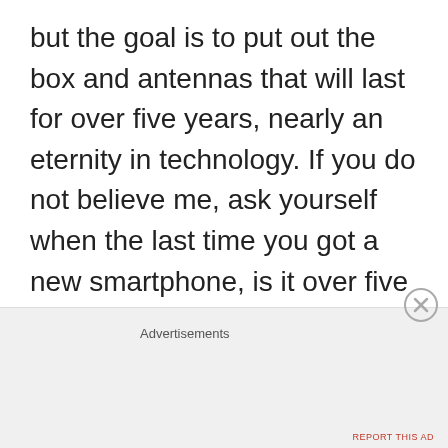but the goal is to put out the box and antennas that will last for over five years, nearly an eternity in technology. If you do not believe me, ask yourself when the last time you got a new smartphone, is it over five years old? Seriously, think about it. Is it over five years old? Why did you
Advertisements